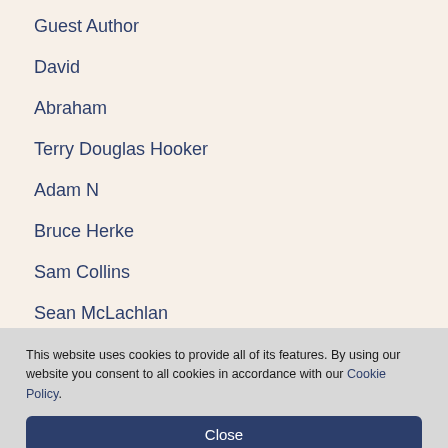Guest Author
David
Abraham
Terry Douglas Hooker
Adam N
Bruce Herke
Sam Collins
Sean McLachlan
Rebecca Mortimer
This website uses cookies to provide all of its features. By using our website you consent to all cookies in accordance with our Cookie Policy.
Close